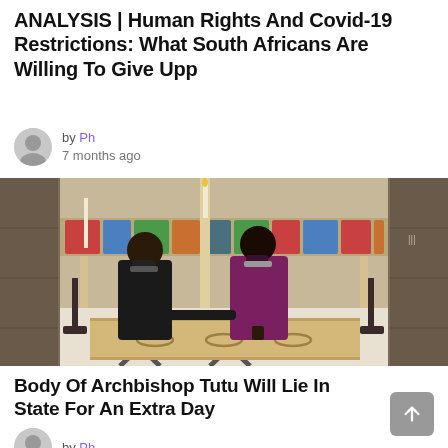ANALYSIS | Human Rights And Covid-19 Restrictions: What South Africans Are Willing To Give Upp
by Ph
7 months ago
[Figure (photo): Two people in robes and masks standing over a simple wooden coffin inside a church with ornate decorations, candlesticks, and altar in the background.]
Body Of Archbishop Tutu Will Lie In State For An Extra Day
by Ph